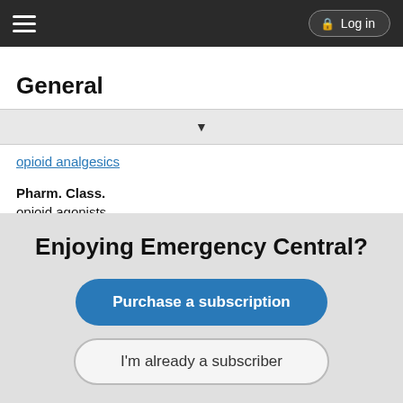Log in
General
opioid analgesics
Pharm. Class.
opioid agonists
Controlled Substance Schedule: II
Indications
Severe pain (the 20 mg/mL oral solution concentration should only be used in opioid-tolerant patients).
Pain severe enough to require daily, around-the-clock, long-term opioid
Enjoying Emergency Central?
Purchase a subscription
I'm already a subscriber